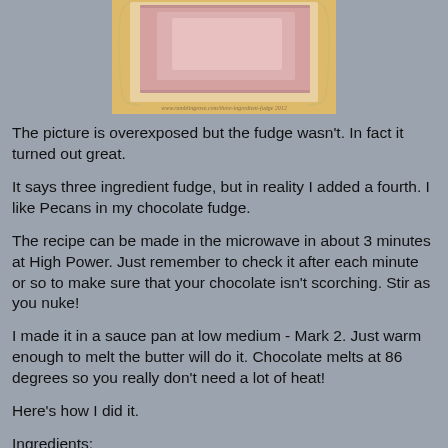[Figure (photo): Overexposed photo of a piece of chocolate fudge in a pan, with a watermark/URL text at the bottom of the image]
The picture is overexposed but the fudge wasn't.  In fact it turned out great.
It says three ingredient fudge, but in reality I added a fourth.  I like Pecans in my chocolate fudge.
The recipe can be made in the microwave in about 3 minutes at High Power.   Just remember to check it after each minute or so to make sure that your chocolate isn't scorching.  Stir as you nuke!
I made it in a sauce pan at low medium - Mark 2.  Just warm enough to melt the butter will do it.   Chocolate melts at 86 degrees so you really don't need a lot of heat!
Here's how I did it.
Ingredients: